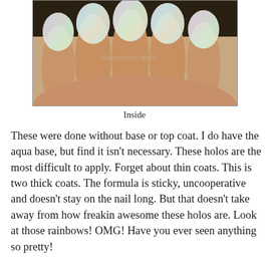[Figure (photo): Close-up photo of fingernails painted with holographic nail polish showing rainbow shimmer effect, viewed from the inside/underside. Watermark reads 'Fingers Polish Mania'.]
Inside
These were done without base or top coat.  I do have the aqua base, but find it isn't necessary.  These holos are the most difficult to apply.  Forget about thin coats.  This is two thick coats.  The formula is sticky, uncooperative and doesn't stay on the nail long.  But that doesn't take away from how freakin awesome these holos are.  Look at those rainbows! OMG! Have you ever seen anything so pretty!